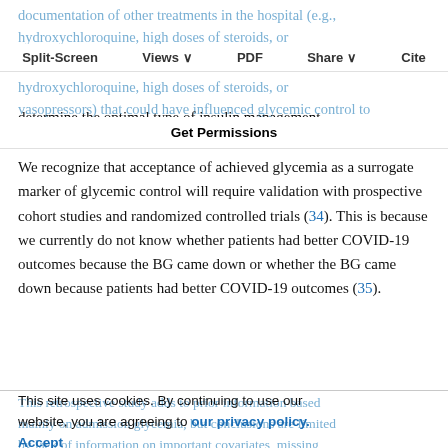documentation of other treatments in the hospital (e.g., hydroxychloroquine, high doses of steroids, or vasopressors) that could have influenced glycemic control to determine the optimal type of insulin management.
Split-Screen | Views | PDF | Share | Cite | Get Permissions
We recognize that acceptance of achieved glycemia as a surrogate marker of glycemic control will require validation with prospective cohort studies and randomized controlled trials (34). This is because we currently do not know whether patients had better COVID-19 outcomes because the BG came down or whether the BG came down because patients had better COVID-19 outcomes (35).
This retrospective study adds to prior information based mainly on admission glycemia, but conclusions are limited by lack of information on important covariates, missing data, and potential for residual bias and confounding, and
This site uses cookies. By continuing to use our website, you are agreeing to our privacy policy. Accept